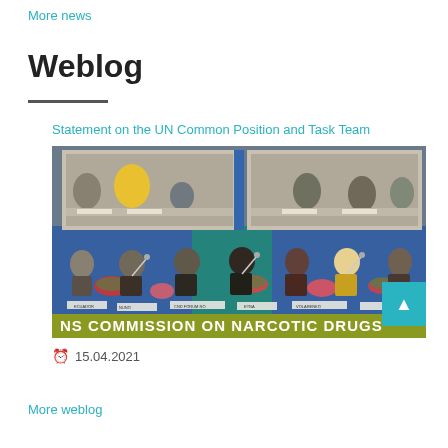More news
Weblog
Statement on the UN Common Position and Task Team
[Figure (photo): Photo of UN Commission on Narcotic Drugs conference session, showing delegates seated at a long table with name placards, a large projection screen showing panel members, and a banner reading 'NS COMMISSION ON NARCOTIC DRUGS' in yellow-green.]
15.04.2021
More weblog